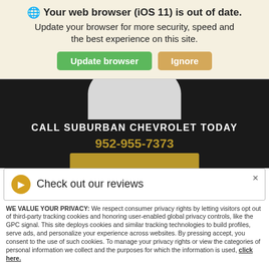Your web browser (iOS 11) is out of date.
Update your browser for more security, speed and the best experience on this site.
Update browser | Ignore
CALL SUBURBAN CHEVROLET TODAY
952-955-7373
Check out our reviews
WE VALUE YOUR PRIVACY: We respect consumer privacy rights by letting visitors opt out of third-party tracking cookies and honoring user-enabled global privacy controls, like the GPC signal. This site deploys cookies and similar tracking technologies to build profiles, serve ads, and personalize your experience across websites. By pressing accept, you consent to the use of such cookies. To manage your privacy rights or view the categories of personal information we collect and the purposes for which the information is used, click here.
Language: English
Powered by ComplyAuto
Accept and Continue → | Privacy Policy | ×